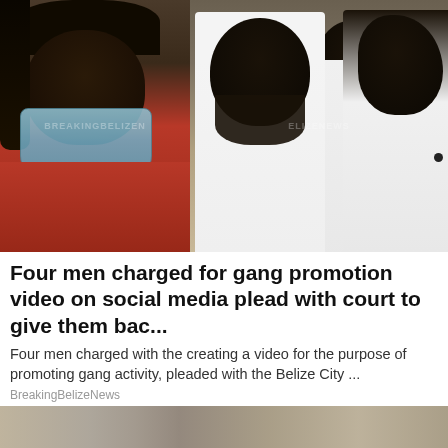[Figure (photo): Four men: on the left, a man in a red patterned shirt wearing a light blue surgical mask; in the center and right, three men in white shirts, one with a beard, one in the background, one on the far right with dreadlocks/braids and tattoos on his neck, shown in profile. A watermark reading 'BREAKINGBELIZENEWS' appears across the image.]
Four men charged for gang promotion video on social media plead with court to give them bac...
Four men charged with the creating a video for the purpose of promoting gang activity, pleaded with the Belize City ...
BreakingBelizeNews
[Figure (photo): Partial view of another photo at the bottom of the page, partially cropped.]